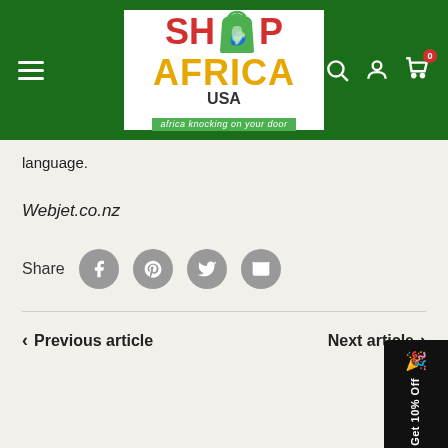[Figure (logo): Shop Africa USA logo on green header background with hamburger menu, search, account, and cart icons]
language.
Webjet.co.nz
Share
Previous article
Next article